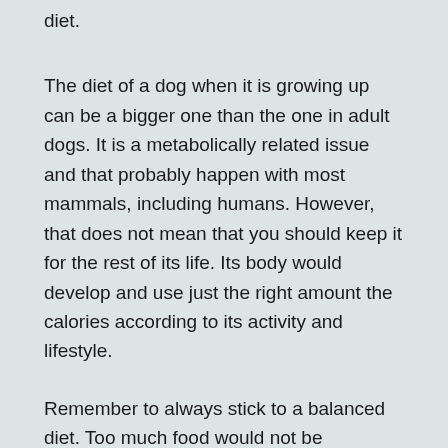diet.
The diet of a dog when it is growing up can be a bigger one than the one in adult dogs. It is a metabolically related issue and that probably happen with most mammals, including humans. However, that does not mean that you should keep it for the rest of its life. Its body would develop and use just the right amount the calories according to its activity and lifestyle.
Remember to always stick to a balanced diet. Too much food would not be beneficial and can make an obese dog. And the same goes the other way: Too little food would make a dog that can't do its activities properly because of a lack of energy.